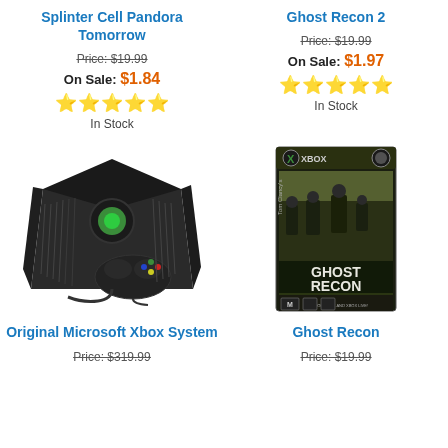Splinter Cell Pandora Tomorrow
Price: $19.99
On Sale: $1.84
★★★★★
In Stock
Ghost Recon 2
Price: $19.99
On Sale: $1.97
★★★★★
In Stock
[Figure (photo): Original Microsoft Xbox console with controller]
[Figure (photo): Ghost Recon Xbox game box cover]
Original Microsoft Xbox System
Price: $319.99
Ghost Recon
Price: $19.99